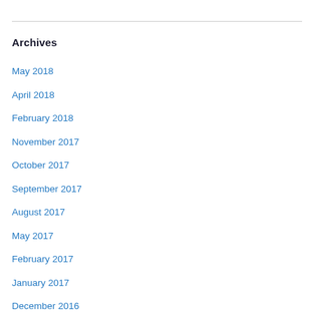Archives
May 2018
April 2018
February 2018
November 2017
October 2017
September 2017
August 2017
May 2017
February 2017
January 2017
December 2016
November 2016
October 2016
September 2016
August 2016
July 2016